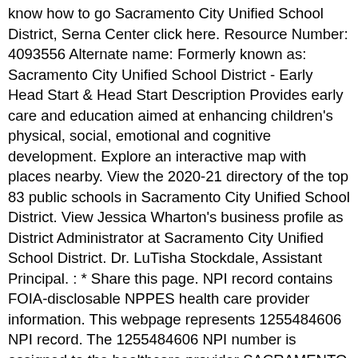know how to go Sacramento City Unified School District, Serna Center click here. Resource Number: 4093556 Alternate name: Formerly known as: Sacramento City Unified School District - Early Head Start & Head Start Description Provides early care and education aimed at enhancing children's physical, social, emotional and cognitive development. Explore an interactive map with places nearby. View the 2020-21 directory of the top 83 public schools in Sacramento City Unified School District. View Jessica Wharton's business profile as District Administrator at Sacramento City Unified School District. Dr. LuTisha Stockdale, Assistant Principal. : * Share this page. NPI record contains FOIA-disclosable NPPES health care provider information. This webpage represents 1255484606 NPI record. The 1255484606 NPI number is assigned to the healthcare provider SACRAMENTO CITY UNIFIED SCHOOL DISTRICT, practice location address at 5735 47TH AVE SACRAMENTO, CA, 95824-4528. View contact details and reviews for Sacramento City Unified School District at 2401 Florin Road, Sacramento, CA, or write a review. Sacramento City Unified 4th “R” Locations –